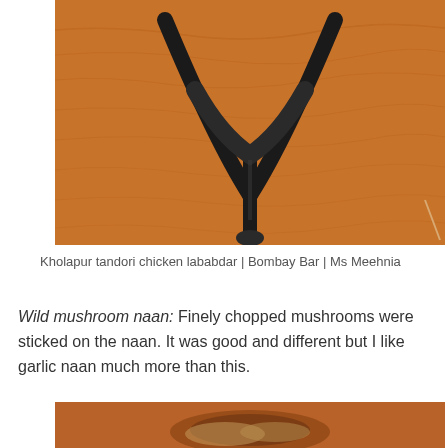[Figure (photo): Close-up photo of a black metal stand/rack on a warm orange-brown wooden surface, shot from above.]
Kholapur tandori chicken lababdar | Bombay Bar | Ms Meehnia
Wild mushroom naan: Finely chopped mushrooms were sticked on the naan. It was good and different but I like garlic naan much more than this.
[Figure (photo): Partial photo of a food dish, cut off at the bottom of the page.]